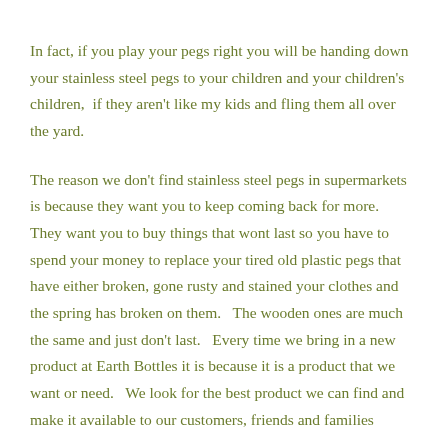In fact, if you play your pegs right you will be handing down your stainless steel pegs to your children and your children's children,  if they aren't like my kids and fling them all over the yard.
The reason we don't find stainless steel pegs in supermarkets is because they want you to keep coming back for more.   They want you to buy things that wont last so you have to spend your money to replace your tired old plastic pegs that have either broken, gone rusty and stained your clothes and the spring has broken on them.   The wooden ones are much the same and just don't last.   Every time we bring in a new product at Earth Bottles it is because it is a product that we want or need.   We look for the best product we can find and make it available to our customers, friends and families